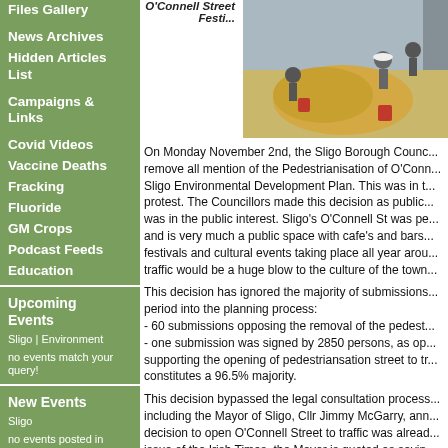Files Gallery
News Archives
Hidden Articles List
Campaigns & Links
Covid Videos
Vaccine Deaths
Fracking
Fluoride
GM Crops
Podcast Feeds
Education
Upcoming Events
Sligo | Environment
no events match your query!
New Events
Sligo
no events posted in last...
[Figure (photo): People at O'Connell Street Festival, children playing in hay]
O'Connell Street Festi...
On Monday November 2nd, the Sligo Borough Counc... remove all mention of the Pedestrianisation of O'Conn... Sligo Environmental Development Plan. This was in t... protest. The Councillors made this decision as public... was in the public interest. Sligo's O'Connell St was pe... and is very much a public space with cafe's and bars... festivals and cultural events taking place all year arou... traffic would be a huge blow to the culture of the town...
This decision has ignored the majority of submissions... period into the planning process:
- 60 submissions opposing the removal of the pedest...
- one submission was signed by 2850 persons, as op... supporting the opening of pedestriansation street to tr... constitutes a 96.5% majority.
This decision bypassed the legal consultation process... including the Mayor of Sligo, Cllr Jimmy McGarry, ann... decision to open O'Connell Street to traffic was alread... issue of the Irish Times, the Mayor is quoted as sayin...